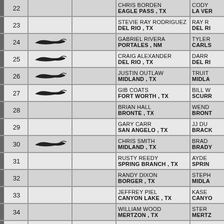| # | Boat | Boat2 | Person1 | Person2 |
| --- | --- | --- | --- | --- |
| 22 |  |  | CHRIS BORDEN
EAGLE PASS , TX | CODY
LA VER |
| 23 |  |  | STEVIE RAY RODRIGUEZ
DEL RIO , TX | RAY R
DEL RI |
| 24 | (boat) |  | GABRIEL RIVERA
PORTALES , NM | TYLER
CARLS |
| 25 | (boat) |  | CRAIG ALEXANDER
DEL RIO , TX | DARR
DEL RI |
| 26 | (boat) |  | JUSTIN OUTLAW
MIDLAND , TX | TRUI
MIDLA |
| 27 | (boat) |  | GIB COATS
FORT WORTH , TX | BILL W
SCURR |
| 28 |  |  | BRIAN HALL
BRONTE , TX | WEND
BRONT |
| 29 |  |  | GARY CARR
SAN ANGELO , TX | JJ DU
BRACK |
| 30 | (boat) |  | CHRIS SMITH
MIDLAND , TX | BRAD
BRADY |
| 31 |  |  | RUSTY REEDY
SPRING BRANCH , TX | AYDE
SPRIN |
| 32 |  |  | RANDY DIXON
BORGER , TX | STEPH
MIDLA |
| 33 |  |  | JEFFREY PIEL
CANYON LAKE , TX | KASE
CANYO |
| 34 |  |  | WILLIAM WOOD
MERTZON , TX | STER
MERTZ |
| 35 |  |  | JASON FITZGERALD | RONN |